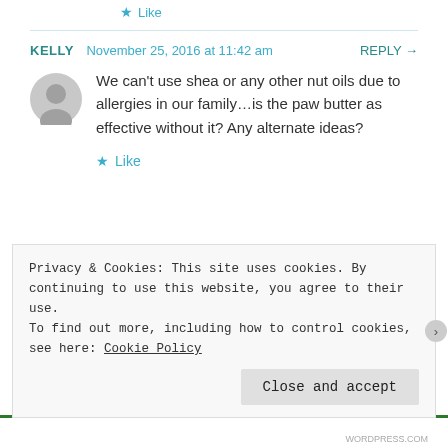★ Like
KELLY  November 25, 2016 at 11:42 am  REPLY →
We can't use shea or any other nut oils due to allergies in our family…is the paw butter as effective without it? Any alternate ideas?
★ Like
Privacy & Cookies: This site uses cookies. By continuing to use this website, you agree to their use. To find out more, including how to control cookies, see here: Cookie Policy
Close and accept